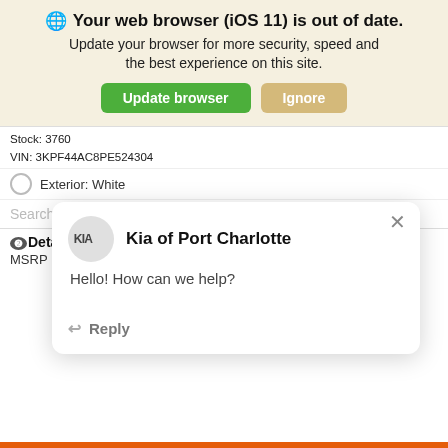Your web browser (iOS 11) is out of date. Update your browser for more security, speed and the best experience on this site.
Update browser | Ignore
Stock: 3760
VIN: 3KPF44AC8PE524304
Exterior: White
Search by ye
Details
MSRP
[Figure (screenshot): Chat popup from Kia of Port Charlotte with greeting 'Hello! How can we help?' and a Reply button]
[Figure (screenshot): Orange banner: CALCULATE YOUR PAYMENT powered by TRADEPENDING with chat bubble icon]
[Figure (screenshot): Green banner: SCHEDULE YOUR TEST DRIVE with blue Value Your accessibility button]